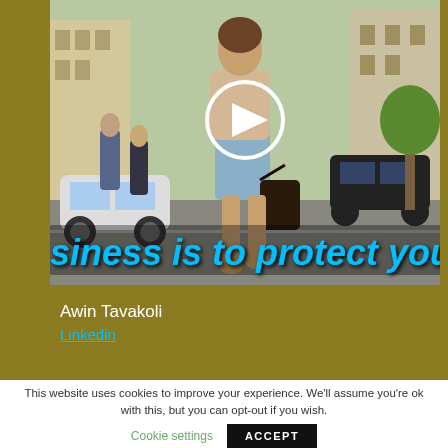[Figure (photo): Screenshot of a website page showing a video thumbnail of a professional woman walking on a street, with a play button overlay and scrolling text overlay reading 'siness is to protect your bu' (partial text of 'Our business is to protect your business'). The background of the page is an olive/gold color. Below the video are the author name 'Awin Tavakoli' and a LinkedIn link.]
Awin Tavakoli
Linkedin
This website uses cookies to improve your experience. We'll assume you're ok with this, but you can opt-out if you wish.
Cookie settings
ACCEPT